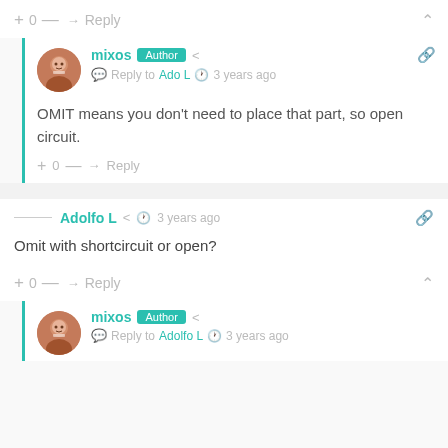+ 0 — → Reply ^
mixos Author < Reply to Ado L 3 years ago
OMIT means you don't need to place that part, so open circuit.
+ 0 — → Reply
Adolfo L < 3 years ago
Omit with shortcircuit or open?
+ 0 — → Reply ^
mixos Author < Reply to Adolfo L 3 years ago